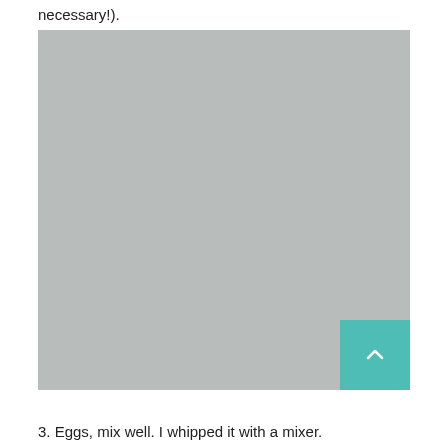necessary!).
[Figure (photo): A large gray placeholder image area]
3. Eggs, mix well. I whipped it with a mixer.